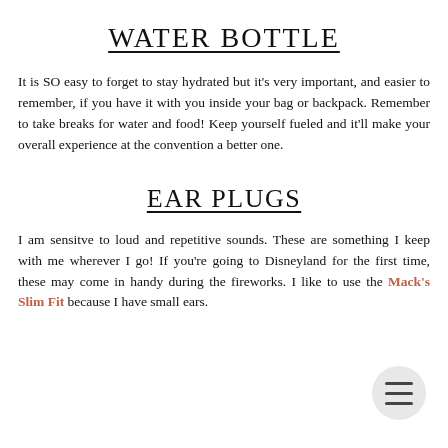WATER BOTTLE
It is SO easy to forget to stay hydrated but it's very important, and easier to remember, if you have it with you inside your bag or backpack. Remember to take breaks for water and food! Keep yourself fueled and it'll make your overall experience at the convention a better one.
EAR PLUGS
I am sensitve to loud and repetitive sounds. These are something I keep with me wherever I go! If you're going to Disneyland for the first time, these may come in handy during the fireworks. I like to use the Mack's Slim Fit because I have small ears.